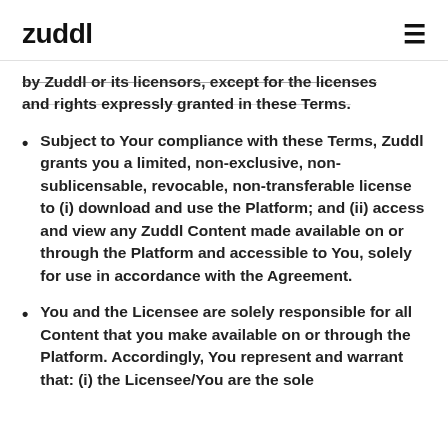zuddl ≡
by Zuddl or its licensors, except for the licenses and rights expressly granted in these Terms.
Subject to Your compliance with these Terms, Zuddl grants you a limited, non-exclusive, non-sublicensable, revocable, non-transferable license to (i) download and use the Platform; and (ii) access and view any Zuddl Content made available on or through the Platform and accessible to You, solely for use in accordance with the Agreement.
You and the Licensee are solely responsible for all Content that you make available on or through the Platform. Accordingly, You represent and warrant that: (i) the Licensee/You are the sole